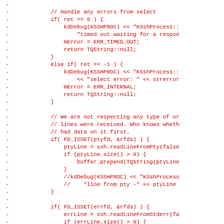Code diff showing deleted lines of C++ SSH process code including error handling for select() return values and FD_ISSET checks for ptyfd and errfd file descriptors.